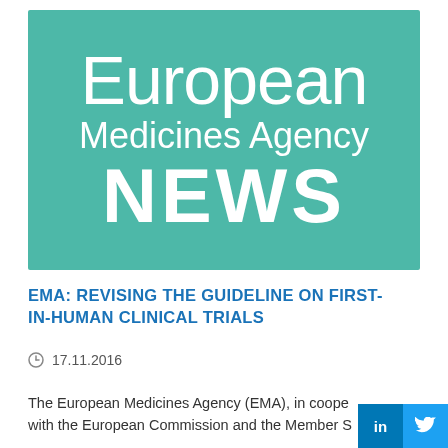[Figure (logo): European Medicines Agency NEWS logo on teal/green background with white text reading 'European Medicines Agency NEWS']
EMA: REVISING THE GUIDELINE ON FIRST-IN-HUMAN CLINICAL TRIALS
17.11.2016
The European Medicines Agency (EMA), in cooperation with the European Commission and the Member S